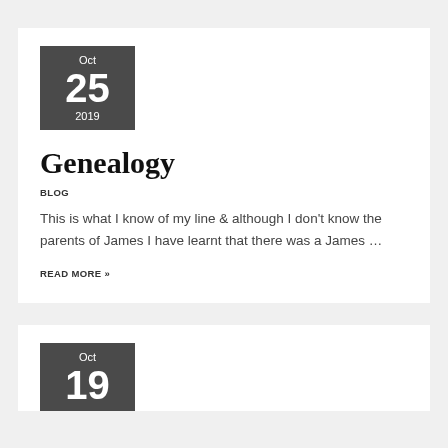Oct 25 2019
Genealogy
BLOG
This is what I know of my line & although I don't know the parents of James I have learnt that there was a James …
READ MORE »
Oct 19